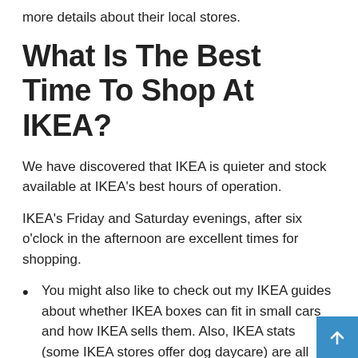more details about their local stores.
What Is The Best Time To Shop At IKEA?
We have discovered that IKEA is quieter and stock available at IKEA's best hours of operation.
IKEA's Friday and Saturday evenings, after six o'clock in the afternoon are excellent times for shopping.
You might also like to check out my IKEA guides about whether IKEA boxes can fit in small cars and how IKEA sells them. Also, IKEA stats (some IKEA stores offer dog daycare) are all good resources.